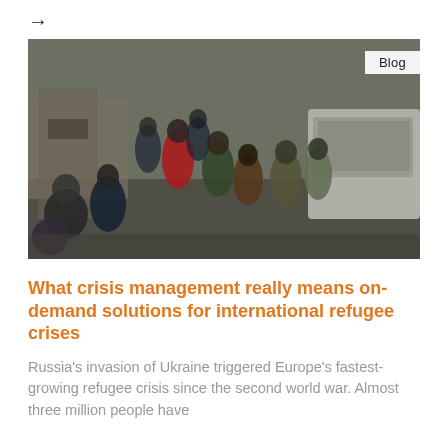→
[Figure (photo): A group of people, including elderly civilians and military personnel, walking along a damaged urban area with rubble and a white van visible. Appears to be a refugee or evacuation scene from Ukraine.]
What crisis management really means on-demand solutions for international refugee crises
Russia's invasion of Ukraine triggered Europe's fastest-growing refugee crisis since the second world war. Almost three million people have